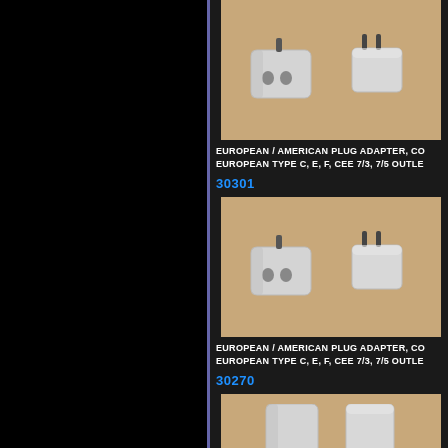[Figure (photo): Two white European/American plug adapters shown side by side on tan/brown background]
EUROPEAN / AMERICAN PLUG ADAPTER, CO EUROPEAN TYPE C, E, F, CEE 7/3, 7/5 OUTLE
30301
[Figure (photo): Two white European/American plug adapters shown side by side on tan/brown background]
EUROPEAN / AMERICAN PLUG ADAPTER, CO EUROPEAN TYPE C, E, F, CEE 7/3, 7/5 OUTLE
30270
[Figure (photo): Two white European/American plug adapters shown side by side, partial view at bottom]